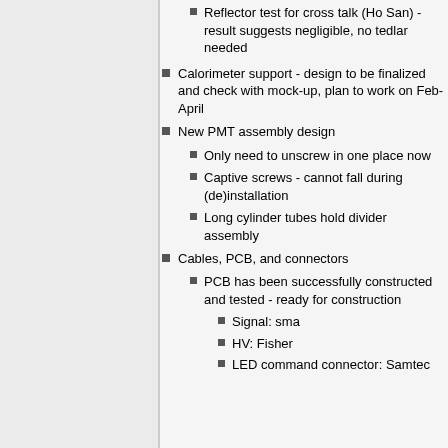Reflector test for cross talk (Ho San) - result suggests negligible, no tedlar needed
Calorimeter support - design to be finalized and check with mock-up, plan to work on Feb-April
New PMT assembly design
Only need to unscrew in one place now
Captive screws - cannot fall during (de)installation
Long cylinder tubes hold divider assembly
Cables, PCB, and connectors
PCB has been successfully constructed and tested - ready for construction
Signal: sma
HV: Fisher
LED command connector: Samtec